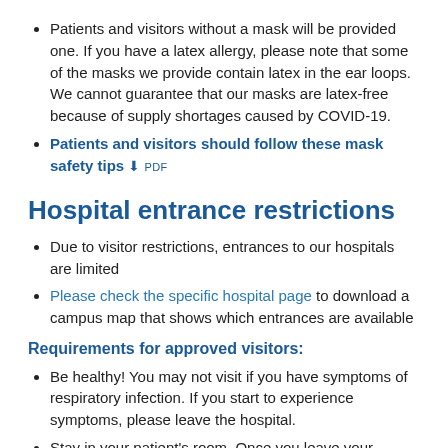Patients and visitors without a mask will be provided one. If you have a latex allergy, please note that some of the masks we provide contain latex in the ear loops. We cannot guarantee that our masks are latex-free because of supply shortages caused by COVID-19.
Patients and visitors should follow these mask safety tips [PDF]
Hospital entrance restrictions
Due to visitor restrictions, entrances to our hospitals are limited
Please check the specific hospital page to download a campus map that shows which entrances are available
Requirements for approved visitors:
Be healthy! You may not visit if you have symptoms of respiratory infection. If you start to experience symptoms, please leave the hospital.
Stay in your patient's room. Once you leave your patient's